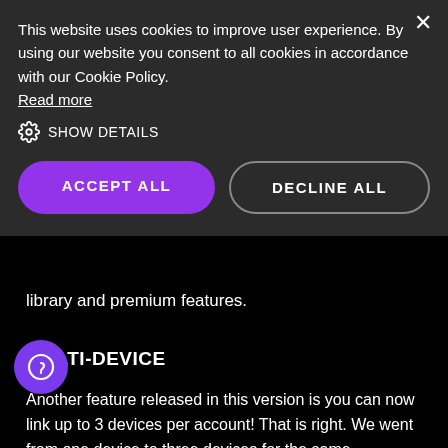This website uses cookies to improve user experience. By using our website you consent to all cookies in accordance with our Cookie Policy. Read more
⚙ SHOW DETAILS
ACCEPT ALL
DECLINE ALL
library and premium features.
MULTI-DEVICE
Another feature released in this version is you can now link up to 3 devices per account! That is right. We went from one device to three devices for the same subscription fee! At AdCentral, we are constantly looking at improving our app and reducing our costs. ks to the excellent customer response and amount of subscribers, our server costs have gone down. Instead of pocketing the savings for ourselves, we decided to pass those savings on to you! So now you can link up to 3 devices under